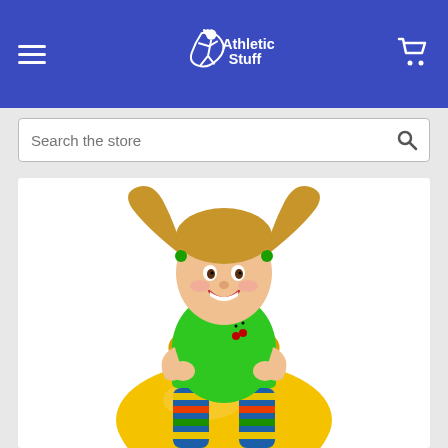Athletic Stuff
Search the store
[Figure (photo): A young girl with pigtails wearing a green shirt and colorful striped leggings, smiling and bouncing on a yellow hopper/space hopper ball. She is holding the handle of the ball. The background is white.]